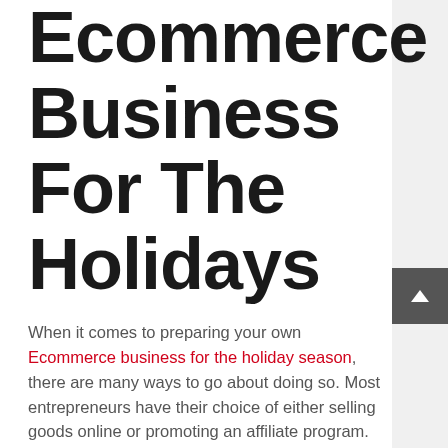Ecommerce Business For The Holidays
When it comes to preparing your own Ecommerce business for the holiday season, there are many ways to go about doing so. Most entrepreneurs have their choice of either selling goods online or promoting an affiliate program. This is a great way to get started